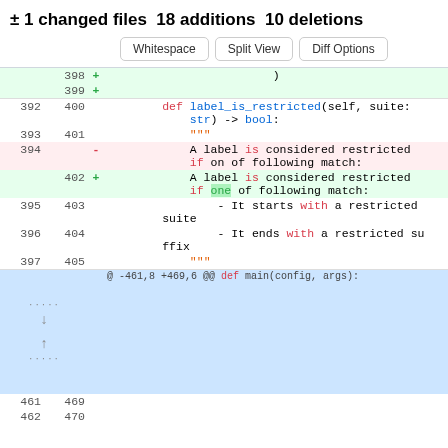± 1 changed files 18 additions 10 deletions
Whitespace | Split View | Diff Options
| old | new | sign | code |
| --- | --- | --- | --- |
|  | 398 | + | ) |
|  | 399 | + |  |
| 392 | 400 |  |     def label_is_restricted(self, suite:str) -> bool: |
| 393 | 401 |  |         """ |
| 394 |  | - |             A label is considered restricted if on of following match: |
|  | 402 | + |             A label is considered restricted if one of following match: |
| 395 | 403 |  |                 - It starts with a restricted suite |
| 396 | 404 |  |                 - It ends with a restricted suffix |
| 397 | 405 |  |             """ |
|  |  | hunk | @ -461,8 +469,6 @@ def main(config, args): |
| 461 | 469 |  |  |
| 462 | 470 |  |  |